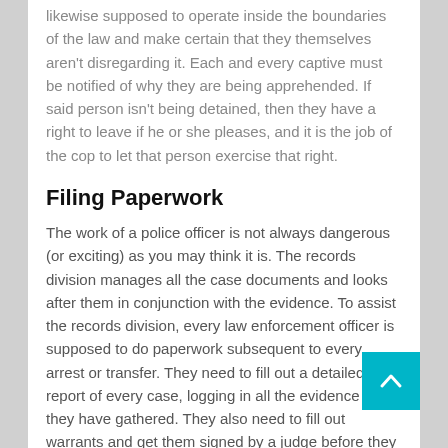likewise supposed to operate inside the boundaries of the law and make certain that they themselves aren't disregarding it. Each and every captive must be notified of why they are being apprehended. If said person isn't being detained, then they have a right to leave if he or she pleases, and it is the job of the cop to let that person exercise that right.
Filing Paperwork
The work of a police officer is not always dangerous (or exciting) as you may think it is. The records division manages all the case documents and looks after them in conjunction with the evidence. To assist the records division, every law enforcement officer is supposed to do paperwork subsequent to every arrest or transfer. They need to fill out a detailed report of every case, logging in all the evidence that they have gathered. They also need to fill out warrants and get them signed by a judge before they take active action on anything.
Working Hours